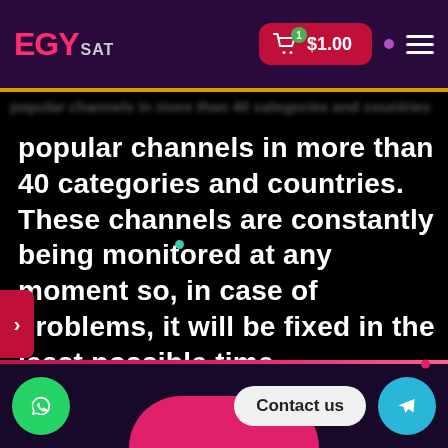EGY SAT — $1.00 cart
popular channels in more than 40 categories and countries. These channels are constantly being monitored at any moment so, in case of problems, it will be fixed in the least possible time.
Contact us